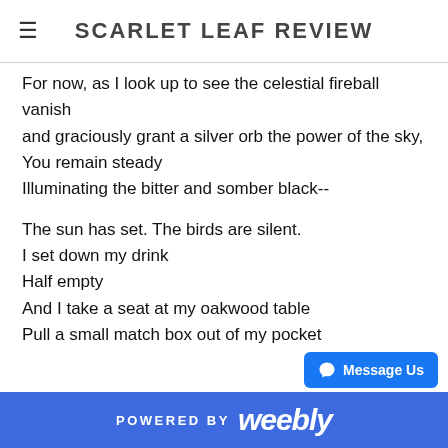SCARLET LEAF REVIEW
For now, as I look up to see the celestial fireball vanish
and graciously grant a silver orb the power of the sky,
You remain steady
Illuminating the bitter and somber black--

The sun has set. The birds are silent.
I set down my drink
Half empty
And I take a seat at my oakwood table
Pull a small match box out of my pocket
And stare at your faceted wick.

I ignite your flare, your catalyst
And the memories drift and fade away
When you alight.
I rest my head in my hands
POWERED BY weebly